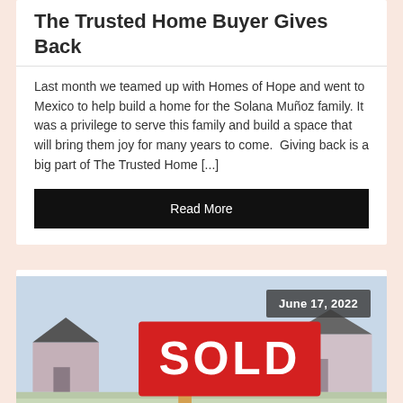The Trusted Home Buyer Gives Back
Last month we teamed up with Homes of Hope and went to Mexico to help build a home for the Solana Muñoz family. It was a privilege to serve this family and build a space that will bring them joy for many years to come.  Giving back is a big part of The Trusted Home [...]
Read More
June 17, 2022
[Figure (photo): A red SOLD real estate sign in front of suburban houses]